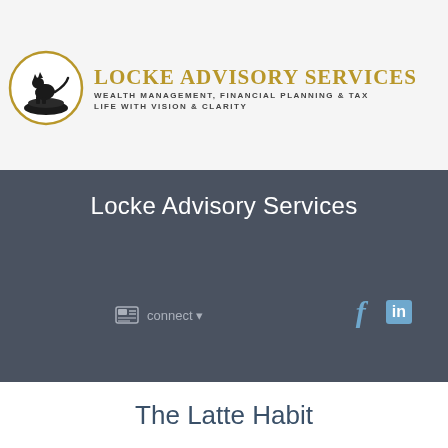Menu
[Figure (logo): Locke Advisory Services logo with panther on rock inside a circle, gold text reading LOCKE ADVISORY SERVICES, subtitle WEALTH MANAGEMENT, FINANCIAL PLANNING & TAX, LIFE WITH VISION & CLARITY]
Locke Advisory Services
connect
The Latte Habit